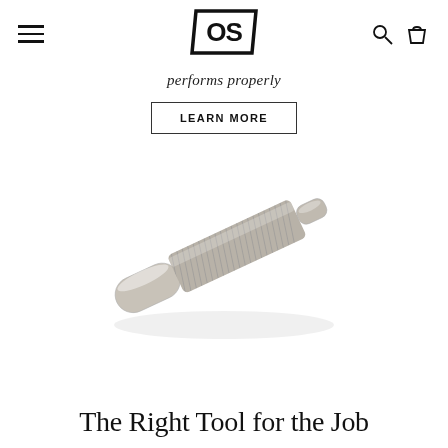[hamburger menu] [OS logo] [search icon] [cart icon]
performs properly
LEARN MORE
[Figure (photo): A knurled metal cylindrical tool/pin, silver in color, lying diagonally on a white background. The tool appears to be a specialty firearm or mechanical tool with knurled grip texture and a small pin tip.]
The Right Tool for the Job